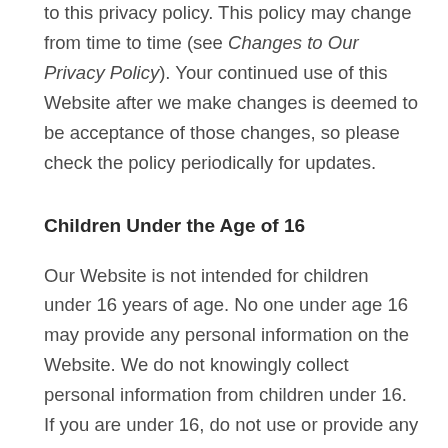to this privacy policy. This policy may change from time to time (see Changes to Our Privacy Policy). Your continued use of this Website after we make changes is deemed to be acceptance of those changes, so please check the policy periodically for updates.
Children Under the Age of 16
Our Website is not intended for children under 16 years of age. No one under age 16 may provide any personal information on the Website. We do not knowingly collect personal information from children under 16. If you are under 16, do not use or provide any information on this Website. If we learn we have collected or received personal information from a child under 16 without verification of parental consent, we